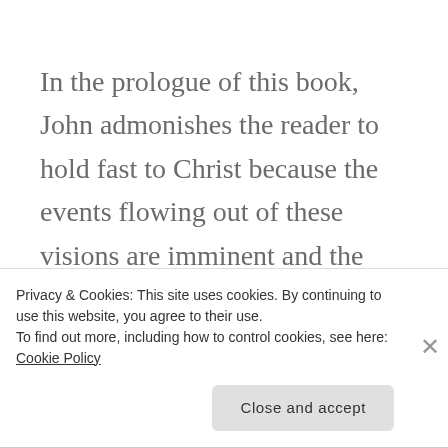In the prologue of this book, John admonishes the reader to hold fast to Christ because the events flowing out of these visions are imminent and the consummation of redemption is ‘near’. Beale notes, “The main goal of the argument of John’s Revelation is to exhort God’s people to remain faithful to the
Privacy & Cookies: This site uses cookies. By continuing to use this website, you agree to their use.
To find out more, including how to control cookies, see here: Cookie Policy
Close and accept